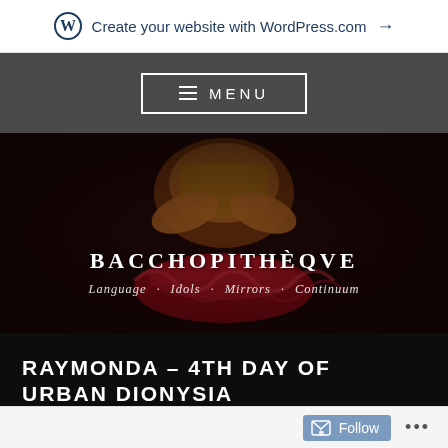Create your website with WordPress.com →
≡ MENU
[Figure (photo): Ballet dancer in ornate red and gold costume with ruffled skirt, arms crossed, viewed from torso down. Dark background with audience visible. Site title 'BACCHOPITHÈQVE' and nav links 'Language · Idols · Mirrors · Continuum' overlaid.]
RAYMONDA – 4TH DAY OF URBAN DIONYSIA
Posted on 16 March 2022 by Jean-Sébastien Desnanot
Follow ...